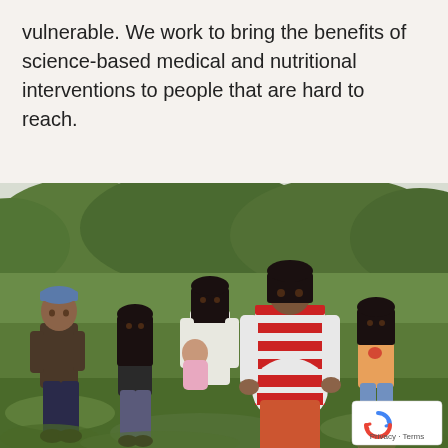vulnerable. We work to bring the benefits of science-based medical and nutritional interventions to people that are hard to reach.
[Figure (photo): A woman and four children (one very young) sitting together outdoors on a grassy hillside, with forested green hills visible in the background. The adults and children appear to be of Latin American indigenous descent. The woman in the center wears a red and white striped shirt. A reCAPTCHA badge appears in the lower right corner with Privacy and Terms links.]